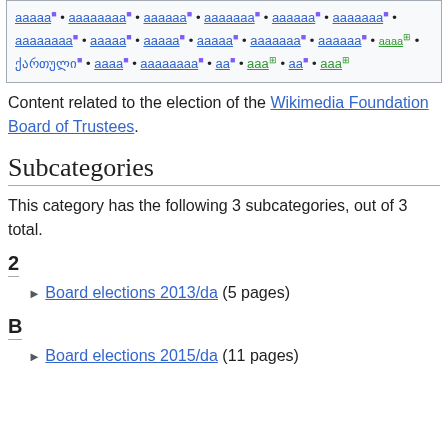[Figure (other): Navigation box with multilingual Wikipedia links in various scripts including Georgian, with small colored icons]
Content related to the election of the Wikimedia Foundation Board of Trustees.
Subcategories
This category has the following 3 subcategories, out of 3 total.
2
▶ Board elections 2013/da (5 pages)
B
▶ Board elections 2015/da (11 pages)